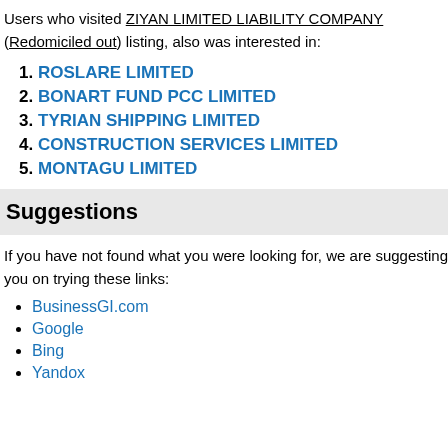Users who visited ZIYAN LIMITED LIABILITY COMPANY (Redomiciled out) listing, also was interested in:
ROSLARE LIMITED
BONART FUND PCC LIMITED
TYRIAN SHIPPING LIMITED
CONSTRUCTION SERVICES LIMITED
MONTAGU LIMITED
Suggestions
If you have not found what you were looking for, we are suggesting you on trying these links:
BusinessGI.com
Google
Bing
Yandox